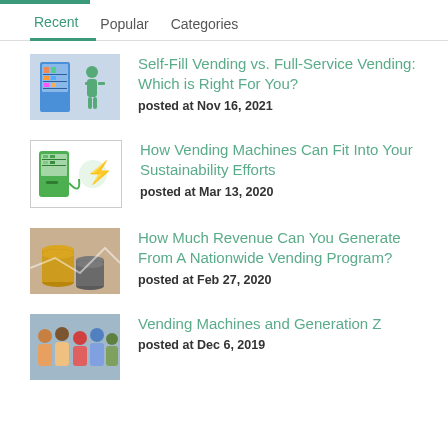Recent | Popular | Categories
Self-Fill Vending vs. Full-Service Vending: Which is Right For You? posted at Nov 16, 2021
How Vending Machines Can Fit Into Your Sustainability Efforts posted at Mar 13, 2020
How Much Revenue Can You Generate From A Nationwide Vending Program? posted at Feb 27, 2020
Vending Machines and Generation Z posted at Dec 6, 2019